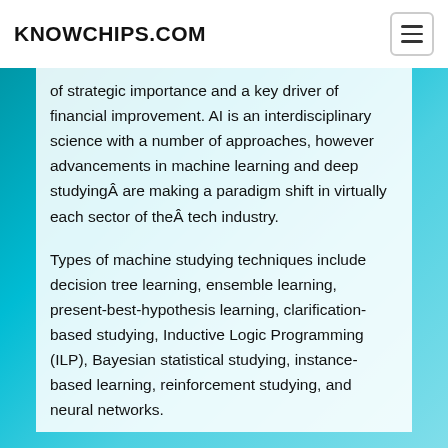KNOWCHIPS.COM
of strategic importance and a key driver of financial improvement. AI is an interdisciplinary science with a number of approaches, however advancements in machine learning and deep studyingÂ are making a paradigm shift in virtually each sector of theÂ tech industry.
Types of machine studying techniques include decision tree learning, ensemble learning, present-best-hypothesis learning, clarification-based studying, Inductive Logic Programming (ILP), Bayesian statistical studying, instance-based learning, reinforcement studying, and neural networks.